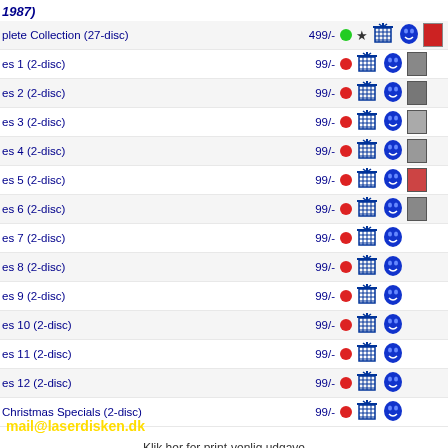1987)
plete Collection (27-disc) — 499/-
es 1 (2-disc) — 99/-
es 2 (2-disc) — 99/-
es 3 (2-disc) — 99/-
es 4 (2-disc) — 99/-
es 5 (2-disc) — 99/-
es 6 (2-disc) — 99/-
es 7 (2-disc) — 99/-
es 8 (2-disc) — 99/-
es 9 (2-disc) — 99/-
es 10 (2-disc) — 99/-
es 11 (2-disc) — 99/-
es 12 (2-disc) — 99/-
Christmas Specials (2-disc) — 99/-
Klik her for print-venlig udgave
mail@laserdisken.dk